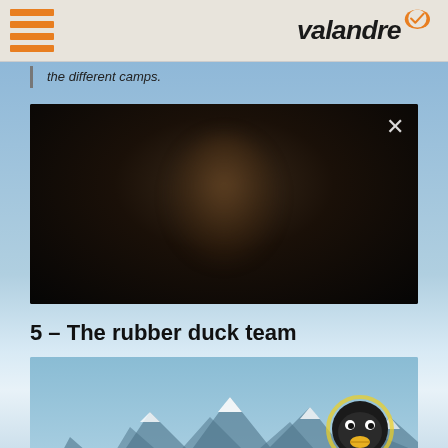valandre (logo with hamburger menu icon)
the different camps.
[Figure (photo): Dark video player showing a blurry silhouette of a person's face against a black background, with a close (X) button in the top right corner]
5 – The rubber duck team
[Figure (photo): Photo showing mountain peaks against a sky, with a rubber duck wearing a black mountaineering suit/jacket on the right side]